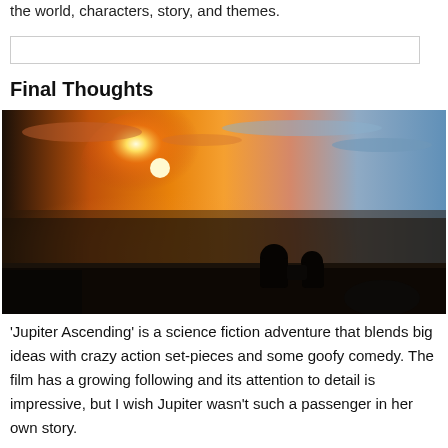the world, characters, story, and themes.
Final Thoughts
[Figure (photo): Two people silhouetted against a dramatic sunset over a city skyline viewed from a high rooftop or elevated structure, with warm orange and pink sky on the left and cooler blue tones on the right.]
'Jupiter Ascending' is a science fiction adventure that blends big ideas with crazy action set-pieces and some goofy comedy. The film has a growing following and its attention to detail is impressive, but I wish Jupiter wasn't such a passenger in her own story.